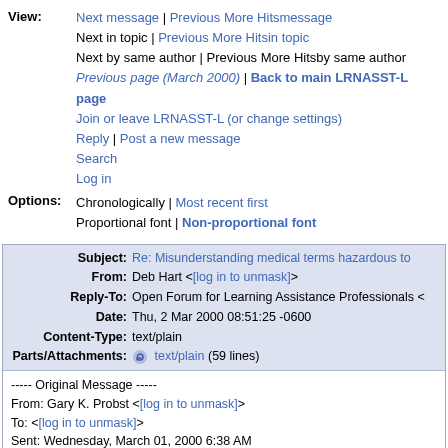View: Next message | Previous More Hitsmessage
Next in topic | Previous More Hitsin topic
Next by same author | Previous More Hitsby same author
Previous page (March 2000) | Back to main LRNASST-L page
Join or leave LRNASST-L (or change settings)
Reply | Post a new message
Search
Log in
Options: Chronologically | Most recent first
Proportional font | Non-proportional font
| Field | Value |
| --- | --- |
| Subject: | Re: Misunderstanding medical terms hazardous to... |
| From: | Deb Hart <[log in to unmask]> |
| Reply-To: | Open Forum for Learning Assistance Professionals <... |
| Date: | Thu, 2 Mar 2000 08:51:25 -0600 |
| Content-Type: | text/plain |
| Parts/Attachments: | text/plain (59 lines) |
----- Original Message -----
From: Gary K. Probst <[log in to unmask]>
To: <[log in to unmask]>
Sent: Wednesday, March 01, 2000 6:38 AM
Subject: Re: Misunderstanding medical terms hazardous to health


> Gary Probst wrote:
>